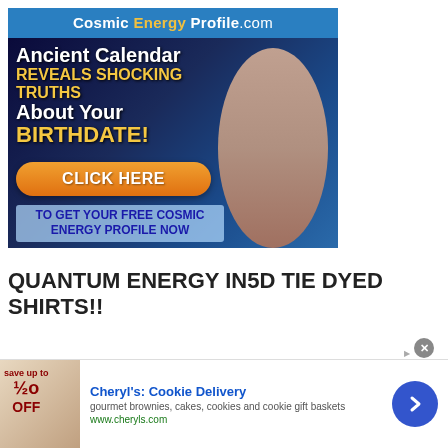[Figure (screenshot): Advertisement banner for CosmicEnergyProfile.com showing blue header with site name, dark space background with text 'Ancient Calendar REVEALS SHOCKING TRUTHS About Your BIRTHDATE!' with orange CLICK HERE button and woman photo]
QUANTUM ENERGY IN5D TIE DYED SHIRTS!!
[Figure (screenshot): Partial purple advertisement banner at bottom of main content]
[Figure (screenshot): Bottom overlay ad for Cheryl's Cookie Delivery: gourmet brownies, cakes, cookies and cookie gift baskets, www.cheryls.com, with close button and navigation arrow]